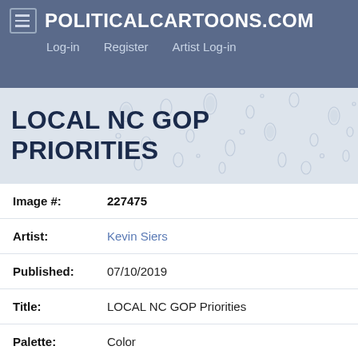POLITICALCARTOONS.COM  Log-in  Register  Artist Log-in
LOCAL NC GOP PRIORITIES
| Field | Value |
| --- | --- |
| Image #: | 227475 |
| Artist: | Kevin Siers |
| Published: | 07/10/2019 |
| Title: | LOCAL NC GOP Priorities |
| Palette: | Color |
| Restrictions: | North Carolina based news sites may NOT post Kevin Siers cartoons online however Kevins cartoons may be run in print in North Carolina |